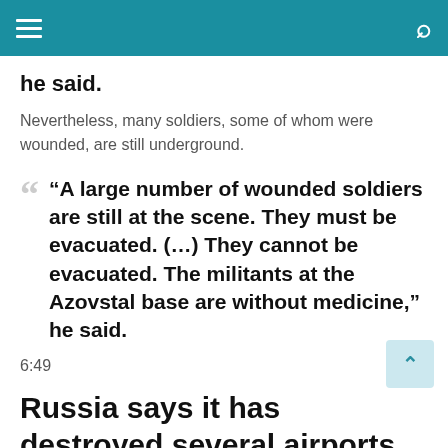Navigation bar with hamburger menu and search icon
he said.
Nevertheless, many soldiers, some of whom were wounded, are still underground.
“A large number of wounded soldiers are still at the scene. They must be evacuated. (…) They cannot be evacuated. The militants at the Azovstal base are without medicine,” he said.
6:49
Russia says it has destroyed several airports in western Ukraine
The Russian Defense Ministry announced on Saturday evening that Odessa, a large Ukrainian port on the Black